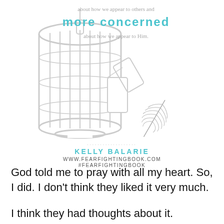[Figure (illustration): Illustration of a birdcage with an open door and a feather floating nearby. Text overlay reads: 'about how we appear to others and more concerned about how we appear to Him.' Author credit: KELLY BALARIE, www.fearfightingbook.com, #fearfightingbook]
God told me to pray with all my heart. So, I did. I don't think they liked it very much.
I think they had thoughts about it. Opinions. Perspectives.